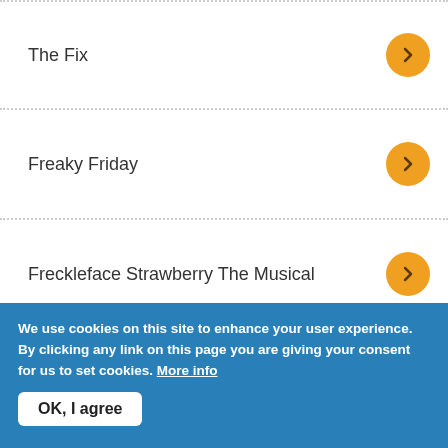The Fix
Freaky Friday
Freckleface Strawberry The Musical
Disney's Frozen JR.
We use cookies on this site to enhance your user experience. By clicking any link on this page you are giving your consent for us to set cookies. More info
OK, I agree